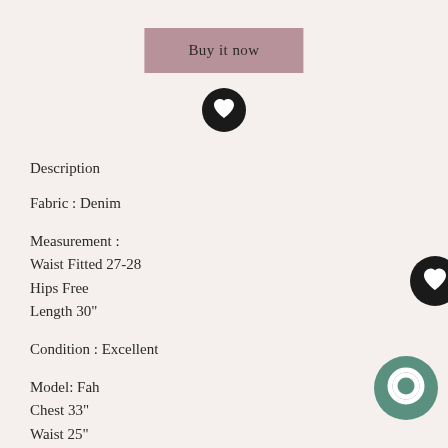[Figure (other): Pink/mauve rounded rectangle button labeled 'Buy it now']
[Figure (other): Black circle with white heart icon (top center)]
Description
Fabric : Denim
Measurement :
Waist Fitted 27-28
Hips Free
Length 30"
Condition : Excellent
Model: Fah
Chest 33"
Waist 25"
Hips 32"
Height 160 cm
[Figure (other): Black circle with white heart icon (right side)]
[Figure (other): Teal/green circle chat bubble icon (bottom right)]